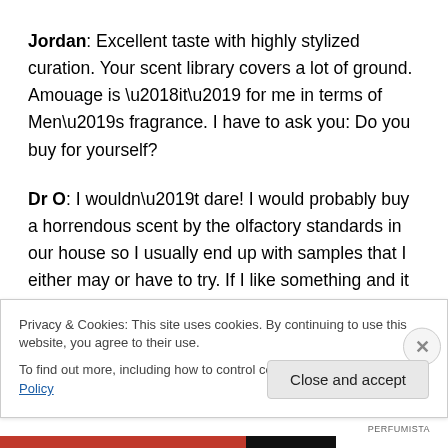Jordan: Excellent taste with highly stylized curation. Your scent library covers a lot of ground. Amouage is ‘it’ for me in terms of Men’s fragrance. I have to ask you: Do you buy for yourself?
Dr O: I wouldn’t dare! I would probably buy a horrendous scent by the olfactory standards in our house so I usually end up with samples that I either may or have to try. If I like something and it is deemed worthy of being in our
Privacy & Cookies: This site uses cookies. By continuing to use this website, you agree to their use.
To find out more, including how to control cookies, see here: Cookie Policy